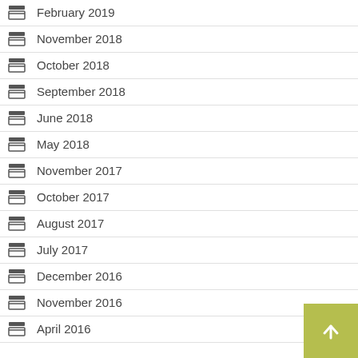February 2019
November 2018
October 2018
September 2018
June 2018
May 2018
November 2017
October 2017
August 2017
July 2017
December 2016
November 2016
April 2016